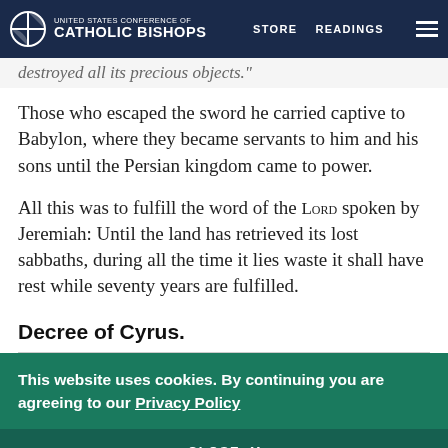UNITED STATES CONFERENCE OF CATHOLIC BISHOPS | STORE | READINGS
destroyed all its precious objects.
Those who escaped the sword he carried captive to Babylon, where they became servants to him and his sons until the Persian kingdom came to power.
All this was to fulfill the word of the LORD spoken by Jeremiah: Until the land has retrieved its lost sabbaths, during all the time it lies waste it shall have rest while seventy years are fulfilled.
Decree of Cyrus.
This website uses cookies. By continuing you are agreeing to our Privacy Policy
CLOSE X